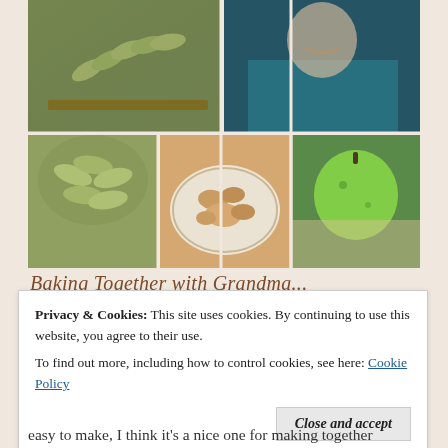[Figure (photo): A collage of 6 food/cooking photos arranged in a grid: top-left shows green apple slices being cut on a board, top-right shows a child holding a green apple, middle-left shows sliced green apples in a bowl, middle-center shows a crumble dessert on a decorative plate, middle-right shows hands holding a green apple, bottom spans two columns showing more food prep images.]
Privacy & Cookies: This site uses cookies. By continuing to use this website, you agree to their use.
To find out more, including how to control cookies, see here: Cookie Policy
Close and accept
easy to make, I think it's a nice one for making together